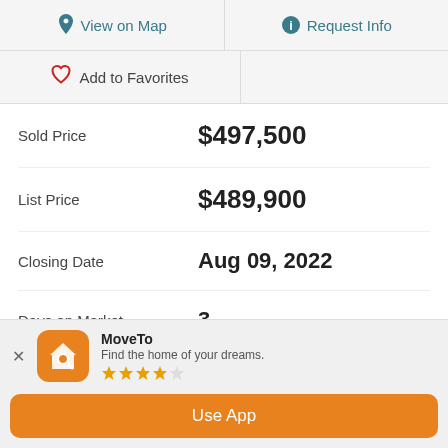View on Map
Request Info
Add to Favorites
| Label | Value |
| --- | --- |
| Sold Price | $497,500 |
| List Price | $489,900 |
| Closing Date | Aug 09, 2022 |
| Days on Market | 3 |
| Status | CLOSED |
MoveTo
Find the home of your dreams.
Use App